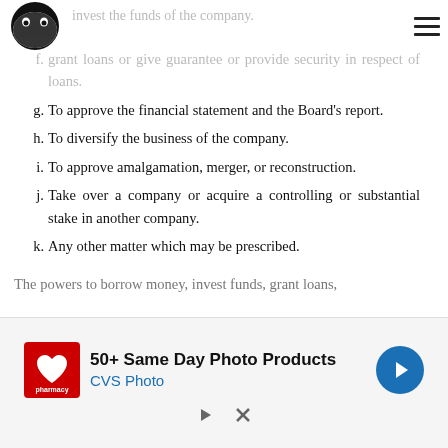invest the funds of the company.
f. grant loans or give guarantee or provide security in respect of loans.
g. To approve the financial statement and the Board's report.
h. To diversify the business of the company.
i. To approve amalgamation, merger, or reconstruction.
j. Take over a company or acquire a controlling or substantial stake in another company.
k. Any other matter which may be prescribed.
The powers to borrow money, invest funds, grant loans,
[Figure (other): CVS Pharmacy advertisement: '50+ Same Day Photo Products' with CVS Photo branding and navigation arrow icon]